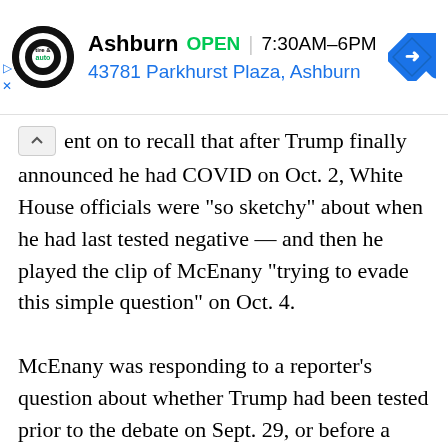[Figure (screenshot): Advertisement banner for Ashburn tire & auto shop showing logo, OPEN status, hours 7:30AM-6PM, address 43781 Parkhurst Plaza Ashburn, and a blue navigation arrow icon]
ent on to recall that after Trump finally announced he had COVID on Oct. 2, White House officials were “so sketchy” about when he had last tested negative — and then he played the clip of McEnany “trying to evade this simple question” on Oct. 4.
McEnany was responding to a reporter’s question about whether Trump had been tested prior to the debate on Sept. 29, or before a fundraiser in Bedminster, New Jersey, on Oct. 1.